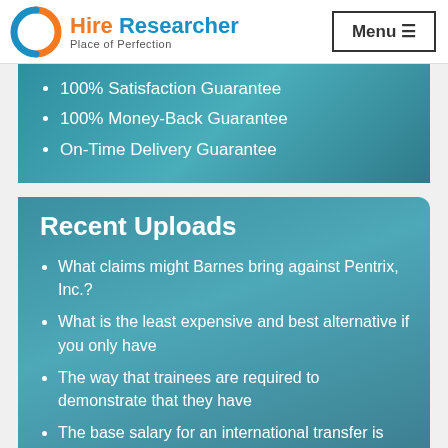[Figure (logo): Hire Researcher logo with circular HR icon in blue and orange, text 'Hire Researcher' in blue/orange and 'Place of Perfection' subtitle]
100% Satisfaction Guarantee
100% Money-Back Guarantee
On-Time Delivery Guarantee
Recent Uploads
What claims might Barnes bring against Pentrix, Inc.?
What is the least expensive and best alternative if you only have
The way that trainees are required to demonstrate that they have
The base salary for an international transfer is linked to the